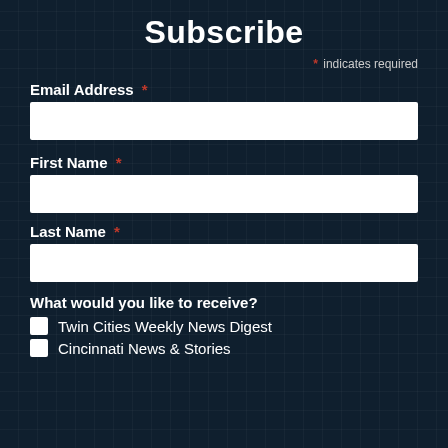Subscribe
* indicates required
Email Address *
First Name *
Last Name *
What would you like to receive?
Twin Cities Weekly News Digest
Cincinnati News & Stories